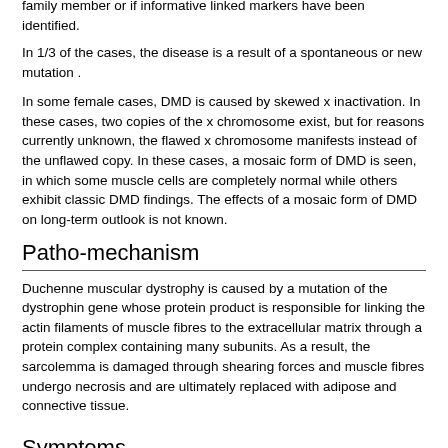family member or if informative linked markers have been identified.
In 1/3 of the cases, the disease is a result of a spontaneous or new mutation .
In some female cases, DMD is caused by skewed x inactivation. In these cases, two copies of the x chromosome exist, but for reasons currently unknown, the flawed x chromosome manifests instead of the unflawed copy. In these cases, a mosaic form of DMD is seen, in which some muscle cells are completely normal while others exhibit classic DMD findings. The effects of a mosaic form of DMD on long-term outlook is not known.
Patho-mechanism
Duchenne muscular dystrophy is caused by a mutation of the dystrophin gene whose protein product is responsible for linking the actin filaments of muscle fibres to the extracellular matrix through a protein complex containing many subunits. As a result, the sarcolemma is damaged through shearing forces and muscle fibres undergo necrosis and are ultimately replaced with adipose and connective tissue.
Symptoms
The main symptom of Duchenne muscular dystrophy is rapidly progressive muscle weakness associated with muscle wasting with the